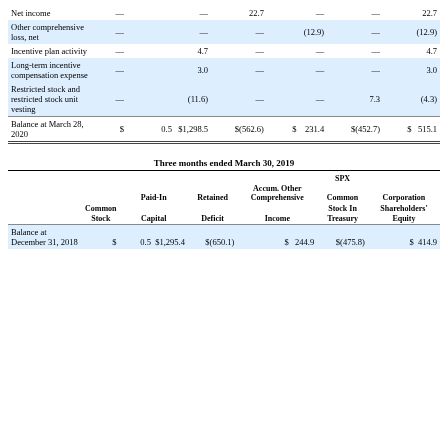|  | Common Stock | Paid-In Capital | Retained Deficit |  | Accum. Other Comprehensive Income | Common Stock In Treasury |  | SPX Corporation Shareholders' Equity |
| --- | --- | --- | --- | --- | --- | --- | --- | --- |
| Net income | — | — | 22.7 | — | — | 22.7 |
| Other comprehensive loss, net | — | — | — | (12.9) | — | (12.9) |
| Incentive plan activity | — | 4.7 | — | — | — | 4.7 |
| Long-term incentive compensation expense | — | 3.0 | — | — | — | 3.0 |
| Restricted stock and restricted stock unit vesting | — | (11.6) | — | — | 7.3 | (4.3) |
| Balance at March 28, 2020 | $ | 0.5 | $1,298.5 | $(562.6) | $ | 231.4 | $(452.7) | $ | 515.1 |
Three months ended March 30, 2019
|  | Common Stock | Paid-In Capital | Retained Deficit | Accum. Other Comprehensive Income | Common Stock In Treasury | SPX Corporation Shareholders' Equity |
| --- | --- | --- | --- | --- | --- | --- |
| Balance at December 31, 2018 | $ | 0.5 | $1,295.4 | $(650.1) | $ | 244.9 | $(475.8) | $ | 414.9 |